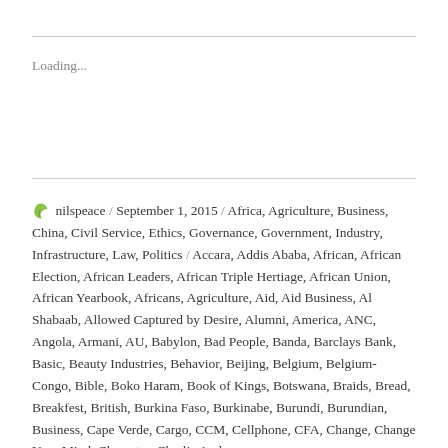Loading...
nilspeace / September 1, 2015 / Africa, Agriculture, Business, China, Civil Service, Ethics, Governance, Government, Industry, Infrastructure, Law, Politics / Accara, Addis Ababa, African, African Election, African Leaders, African Triple Hertiage, African Union, African Yearbook, Africans, Agriculture, Aid, Aid Business, Al Shabaab, Allowed Captured by Desire, Alumni, America, ANC, Angola, Armani, AU, Babylon, Bad People, Banda, Barclays Bank, Basic, Beauty Industries, Behavior, Beijing, Belgium, Belgium-Congo, Bible, Boko Haram, Book of Kings, Botswana, Braids, Bread, Breakfest, British, Burkina Faso, Burkinabe, Burundi, Burundian, Business, Cape Verde, Cargo, CCM, Cellphone, CFA, Change, Change Your Mind, Character, Charlie Andrews